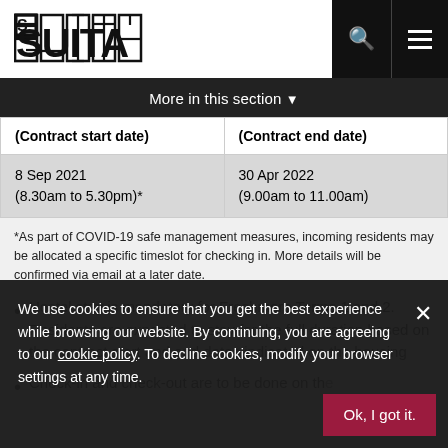SUITA logo, search icon, menu icon
More in this section
| (Contract start date) | (Contract end date) |
| --- | --- |
| 8 Sep 2021
(8.30am to 5.30pm)* | 30 Apr 2022
(9.00am to 11.00am) |
*As part of COVID-19 safe management measures, incoming residents may be allocated a specific timeslot for checking in. More details will be confirmed via email at a later date.
Hostel stay is mandatory for Freshmore Terms 1 and 2. Residents are expected to stay for the full duration based on the contract start and end dates indicated on the housing
Check-in and check-out are to be done on the
We use cookies to ensure that you get the best experience while browsing our website. By continuing, you are agreeing to our cookie policy. To decline cookies, modify your browser settings at any time.